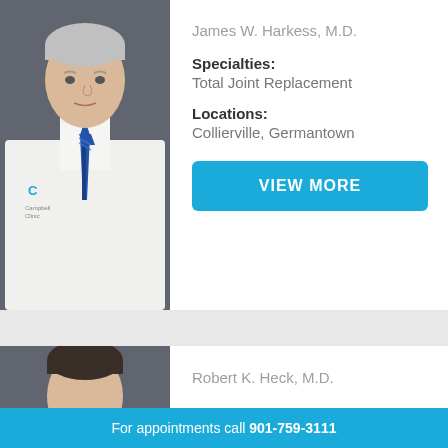[Figure (photo): Professional headshot of Dr. James W. Harkess in white coat with blue tie, gray background]
James W. Harkess, M.D.
Specialties:
Total Joint Replacement
Locations:
Collierville, Germantown
VIEW MORE
[Figure (photo): Partial headshot of Dr. Robert K. Heck]
Robert K. Heck, M.D.
For appointments call 901-759-3111